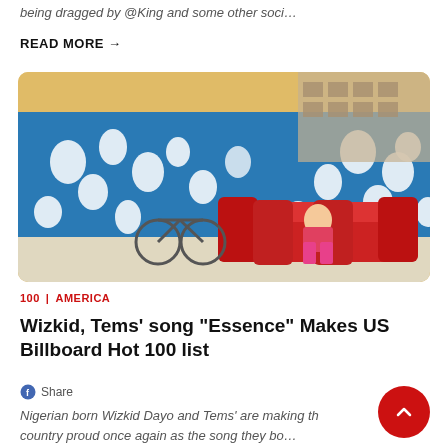being dragged by @King and some other soci…
READ MORE →
[Figure (photo): Person in colorful shirt and pink pants sitting on a red couch outdoors against a blue lattice fence background]
100 | AMERICA
Wizkid, Tems' song "Essence" Makes US Billboard Hot 100 list
Share
Nigerian born Wizkid Dayo and Tems' are making the country proud once again as the song they bo…